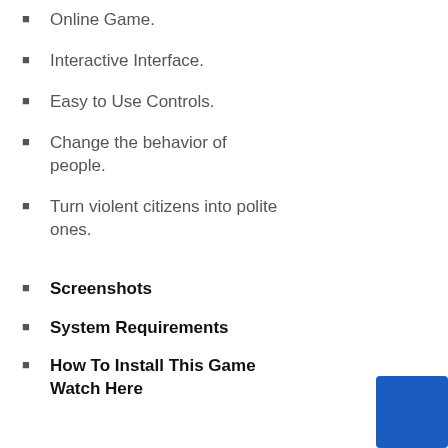Online Game.
Interactive Interface.
Easy to Use Controls.
Change the behavior of people.
Turn violent citizens into polite ones.
Screenshots
System Requirements
How To Install This Game Watch Here
[Figure (other): Blue square box in the bottom-right corner]